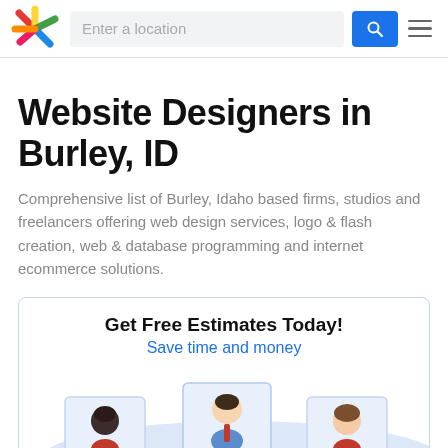[Figure (logo): Colorful star/burst logo mark with red, yellow, green, blue arms]
Enter a location
Website Designers in Burley, ID
Comprehensive list of Burley, Idaho based firms, studios and freelancers offering web design services, logo & flash creation, web & database programming and internet ecommerce solutions.
Get Free Estimates Today!
Save time and money
[Figure (illustration): Illustration showing three person/avatar cards with a wave background, representing contractors or service providers]